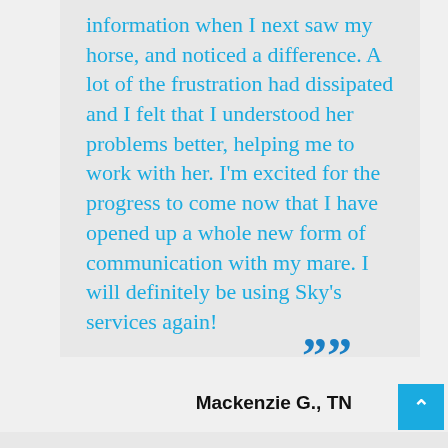information when I next saw my horse, and noticed a difference. A lot of the frustration had dissipated and I felt that I understood her problems better, helping me to work with her. I'm excited for the progress to come now that I have opened up a whole new form of communication with my mare. I will definitely be using Sky's services again!
””
Mackenzie G., TN